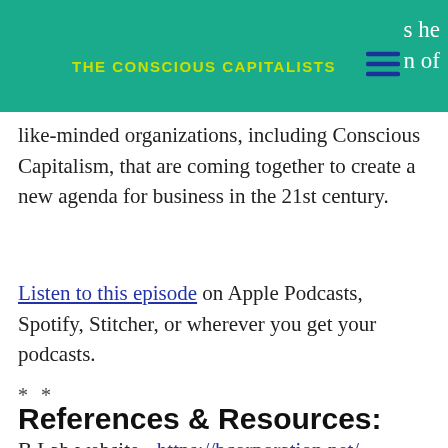THE CONSCIOUS CAPITALISTS
like-minded organizations, including Conscious Capitalism, that are coming together to create a new agenda for business in the 21st century.
Listen to this episode on Apple Podcasts, Spotify, Stitcher, or wherever you get your podcasts.
* *
References & Resources:
B Lab website - https://bcorporation.net/